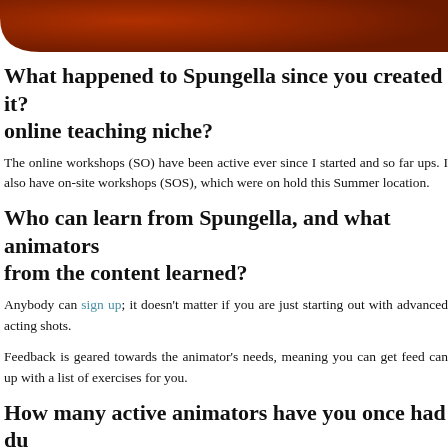[Figure (other): Dark brown/red decorative header bar at the top of the page]
What happened to Spungella since you created it? online teaching niche?
The online workshops (SO) have been active ever since I started and so far ups. I also have on-site workshops (SOS), which were on hold this Summer location.
Who can learn from Spungella, and what animators from the content learned?
Anybody can sign up; it doesn't matter if you are just starting out with advanced acting shots.
Feedback is geared towards the animator's needs, meaning you can get feed can up with a list of exercises for you.
How many active animators have you once had du
The onsite workshops hover around 10 to 15 students per group. Depend workshops a week.